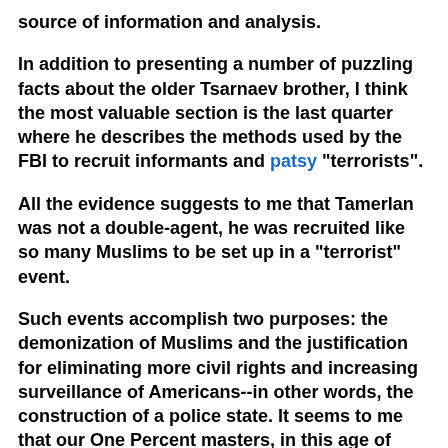source of information and analysis.
In addition to presenting a number of puzzling facts about the older Tsarnaev brother, I think the most valuable section is the last quarter where he describes the methods used by the FBI to recruit informants and patsy "terrorists".
All the evidence suggests to me that Tamerlan was not a double-agent, he was recruited like so many Muslims to be set up in a "terrorist" event.
Such events accomplish two purposes: the demonization of Muslims and the justification for eliminating more civil rights and increasing surveillance of Americans--in other words, the construction of a police state. It seems to me that our One Percent masters, in this age of instant global communications, no longer trust their control over media, the movie industry, and educational institutions to keep us in ignorance. They now have to use fear.